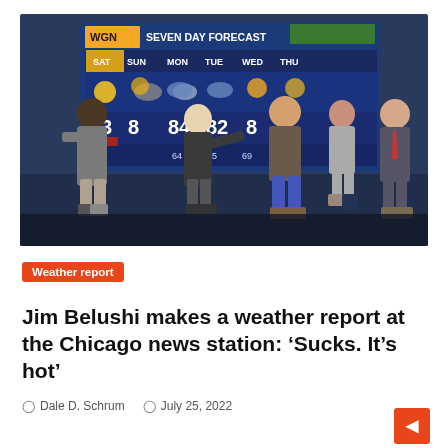[Figure (photo): TV studio scene showing five people on a news set. A large screen displays a SEVEN DAY FORECAST from WGN with weather data: SAT 93/71, SUN 8x, MON 84/64, TUE 82/65, WED 8x/69, THU visible. People standing on the set floor conversing.]
Weather report
Jim Belushi makes a weather report at the Chicago news station: ‘Sucks. It’s hot’
Dale D. Schrum   July 25, 2022